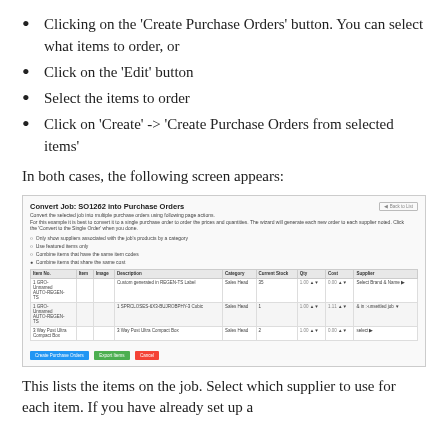Clicking on the 'Create Purchase Orders' button. You can select what items to order, or
Click on the 'Edit' button
Select the items to order
Click on 'Create' -> 'Create Purchase Orders from selected items'
In both cases, the following screen appears:
[Figure (screenshot): Screenshot of 'Convert Job: SO1262 into Purchase Orders' dialog showing a table with item rows, columns for Item, Image, Description, Category, Current Stock, Qty, Cost, Supplier, and buttons for Create Purchase Orders, Export Items, Cancel at the bottom.]
This lists the items on the job. Select which supplier to use for each item. If you have already set up a